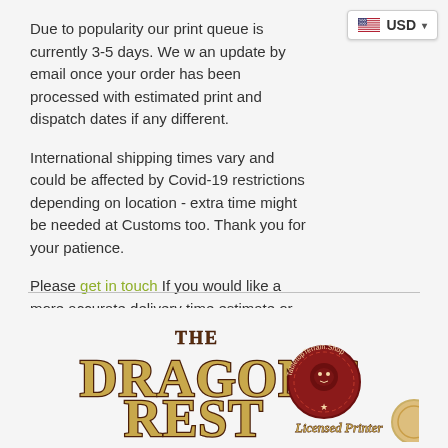Due to popularity our print queue is currently 3-5 days. We w an update by email once your order has been processed with estimated print and dispatch dates if any different.
International shipping times vary and could be affected by Covid-19 restrictions depending on location - extra time might be needed at Customs too. Thank you for your patience.
Please get in touch If you would like a more accurate delivery time estimate or to discuss a custom order..
[Figure (logo): The Dragon's Rest Tabletop Terrain Shop - Licensed Printer logo with gold and brown fantasy lettering and a red wax seal]